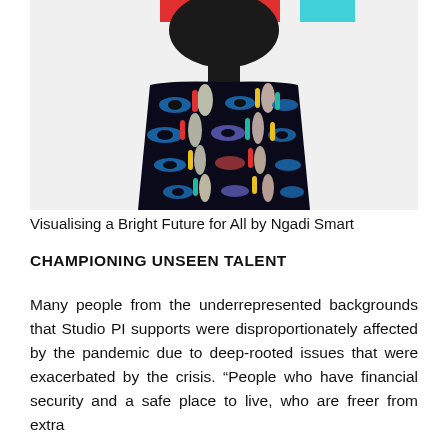[Figure (illustration): Colorful illustration of a figure wearing a patterned outfit with eyes and abstract shapes in black, red, blue, yellow, and teal. Red and cyan rectangles at the top.]
Visualising a Bright Future for All by Ngadi Smart
CHAMPIONING UNSEEN TALENT
Many people from the underrepresented backgrounds that Studio PI supports were disproportionately affected by the pandemic due to deep-rooted issues that were exacerbated by the crisis. “People who have financial security and a safe place to live, who are freer from extra